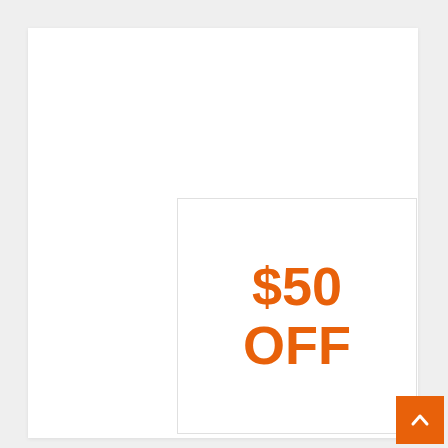[Figure (illustration): Coupon image box with orange text reading '$50 OFF' centered inside a bordered white square]
$50 Off Baby Leggings
GET CODE | AE